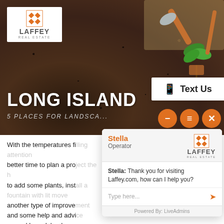[Figure (screenshot): Screenshot of Laffey Real Estate website page showing a hero image with soil/gardening background, the Laffey Real Estate logo, a 'Text Us' button, orange circle navigation buttons, and a live chat popup with agent named Stella (Operator) saying 'Thank you for visiting Laffey.com, how can I help you?' with a chat input box and Powered By: LiveAdmins footer. Below the hero, body text begins: 'With the temperatures fi... better time to plan a pr... to add some plants, insta... another type of improve... and some help and advi... around Long Island.']